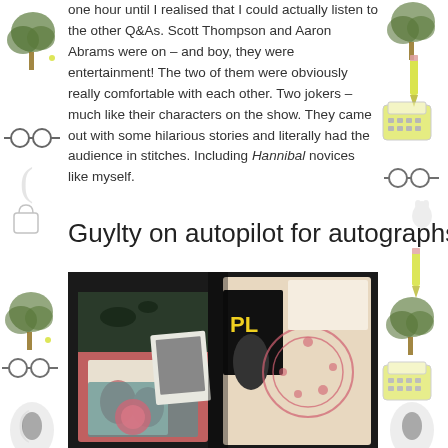one hour until I realised that I could actually listen to the other Q&As. Scott Thompson and Aaron Abrams were on – and boy, they were entertainment! The two of them were obviously really comfortable with each other. Two jokers – much like their characters on the show. They came out with some hilarious stories and literally had the audience in stitches. Including Hannibal novices like myself.
Guylty on autopilot for autographs
[Figure (photo): A photograph showing a collection of decorated items including books or notebooks with vintage floral and illustrated covers, and what appears to be patterned fabric or paper items arranged together against a dark background.]